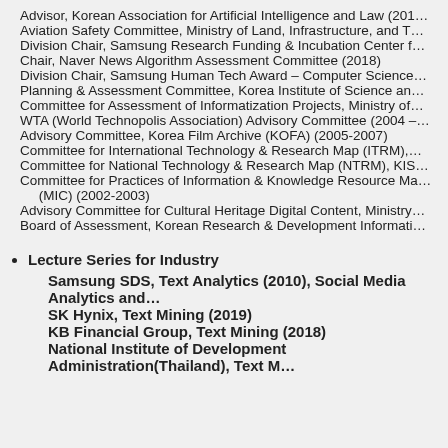Advisor, Korean Association for Artificial Intelligence and Law (201…
Aviation Safety Committee, Ministry of Land, Infrastructure, and T…
Division Chair, Samsung Research Funding & Incubation Center f…
Chair, Naver News Algorithm Assessment Committee (2018)
Division Chair, Samsung Human Tech Award – Computer Science…
Planning & Assessment Committee, Korea Institute of Science an…
Committee for Assessment of Informatization Projects, Ministry of…
WTA (World Technopolis Association) Advisory Committee (2004 –…
Advisory Committee, Korea Film Archive (KOFA) (2005-2007)
Committee for International Technology & Research Map (ITRM),…
Committee for National Technology & Research Map (NTRM), KIS…
Committee for Practices of Information & Knowledge Resource Ma… (MIC) (2002-2003)
Advisory Committee for Cultural Heritage Digital Content, Ministry…
Board of Assessment, Korean Research & Development Informati…
Lecture Series for Industry
Samsung SDS, Text Analytics (2010), Social Media Analytics and…
SK Hynix, Text Mining (2019)
KB Financial Group, Text Mining (2018)
National Institute of Development Administration(Thailand), Text M…